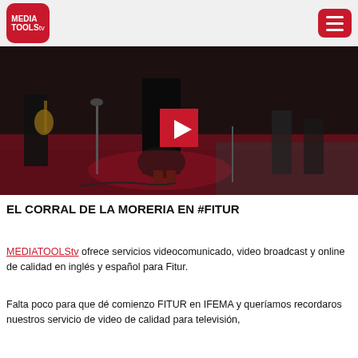MEDIATOOLStv
[Figure (photo): Video thumbnail of a flamenco performance at Fitur with a red play button overlay. A dancer in dark clothing on a red carpet stage with musicians in the background.]
EL CORRAL DE LA MORERIA EN #FITUR
MEDIATOOLStv ofrece servicios videocomunicado, video broadcast y online de calidad en inglés y español para Fitur.
Falta poco para que dé comienzo FITUR en IFEMA y queríamos recordaros nuestros servicio de video de calidad para televisión,